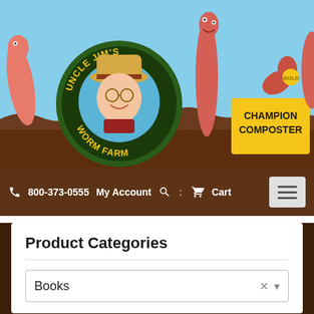[Figure (illustration): Uncle Jim's Worm Farm header banner illustration showing cartoon worms emerging from soil, with a circular logo featuring Uncle Jim wearing a straw hat, and a yellow 'CHAMPION COMPOSTER' trophy block with a worm on top holding a gold medal. Sky blue background.]
800-373-0555  My Account  Cart
Product Categories
Books
Home / Books / NEW for 2022! Composting for a New Generation: Latest Techniques for the Bin and Beyond